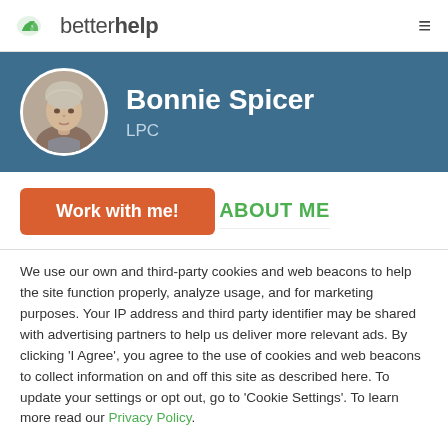betterhelp
[Figure (photo): BetterHelp therapist profile page for Bonnie Spicer, LPC. Shows circular photo of an older woman with gray/blonde hair, set against a blue banner background.]
Bonnie Spicer
LPC
Work with me!
ABOUT ME
We use our own and third-party cookies and web beacons to help the site function properly, analyze usage, and for marketing purposes. Your IP address and third party identifier may be shared with advertising partners to help us deliver more relevant ads. By clicking 'I Agree', you agree to the use of cookies and web beacons to collect information on and off this site as described here. To update your settings or opt out, go to 'Cookie Settings'. To learn more read our Privacy Policy.